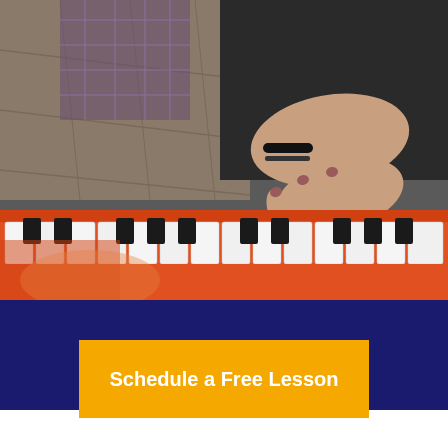[Figure (photo): Aerial view of a person's hand playing an orange/red keyboard piano. The hand with a black bracelet is pressing keys on a brightly colored orange keyboard. The person is wearing a plaid/flannel shirt. The background shows a textured floor.]
Schedule a Free Lesson